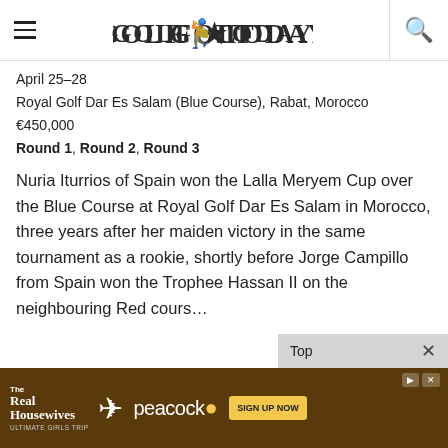GOLF TODAY
April 25–28
Royal Golf Dar Es Salam (Blue Course), Rabat, Morocco
€450,000
Round 1, Round 2, Round 3
Nuria Iturrios of Spain won the Lalla Meryem Cup over the Blue Course at Royal Golf Dar Es Salam in Morocco, three years after her maiden victory in the same tournament as a rookie, shortly before Jorge Campillo from Spain won the Trophee Hassan II on the neighbouring Red cours…